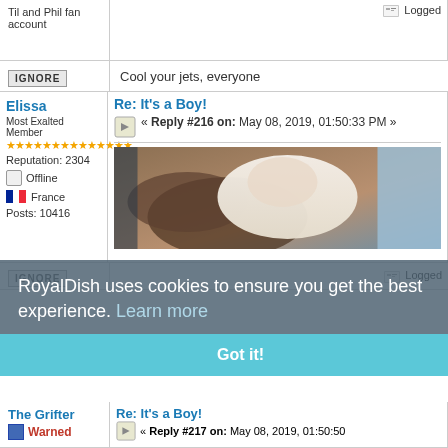Til and Phil fan account
Logged
IGNORE
Cool your jets, everyone
Elissa
Re: It's a Boy!
« Reply #216 on: May 08, 2019, 01:50:33 PM »
Most Exalted Member
Reputation: 2304
Offline
France
Posts: 10416
IGNORE
Logged
[Figure (photo): Photo of a baby being held, showing hands cradling a newborn in white wrap]
RoyalDish uses cookies to ensure you get the best experience. Learn more
Got it!
The Grifter
Warned
Re: It's a Boy!
« Reply #217 on: May 08, 2019, 01:50:50